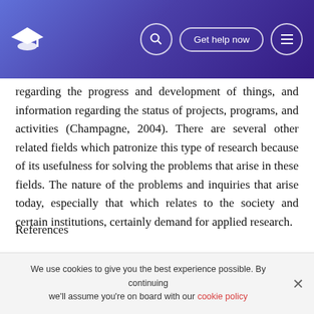Get help now
regarding the progress and development of things, and information regarding the status of projects, programs, and activities (Champagne, 2004). There are several other related fields which patronize this type of research because of its usefulness for solving the problems that arise in these fields. The nature of the problems and inquiries that arise today, especially that which relates to the society and certain institutions, certainly demand for applied research.
References
Champagne, F. (2004). Using knowledge and evidence in
We use cookies to give you the best experience possible. By continuing we'll assume you're on board with our cookie policy